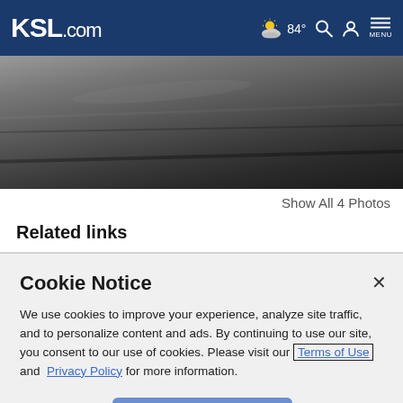KSL.com | 84° | Search | Account | MENU
[Figure (photo): Partial photo of a car, dark/gray tones, cropped from the top]
Show All 4 Photos
Related links
Cookie Notice
We use cookies to improve your experience, analyze site traffic, and to personalize content and ads. By continuing to use our site, you consent to our use of cookies. Please visit our Terms of Use and Privacy Policy for more information.
Continue